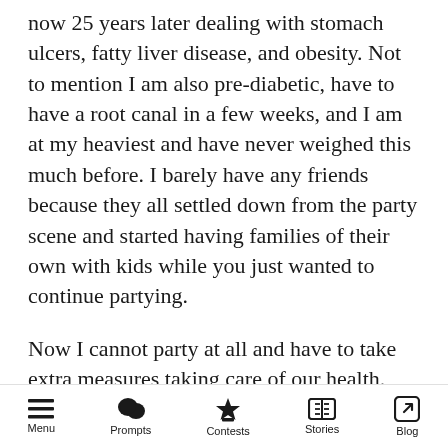now 25 years later dealing with stomach ulcers, fatty liver disease, and obesity. Not to mention I am also pre-diabetic, have to have a root canal in a few weeks, and I am at my heaviest and have never weighed this much before. I barely have any friends because they all settled down from the party scene and started having families of their own with kids while you just wanted to continue partying.
Now I cannot party at all and have to take extra measures taking care of our health.
And to make matters worse, all those great memories you've had, haunt me now because my
Menu  Prompts  Contests  Stories  Blog